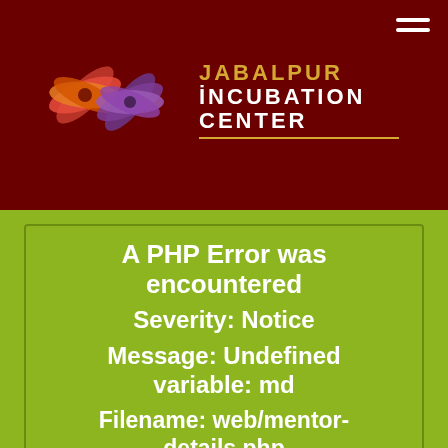[Figure (logo): Jabalpur Incubation Center logo with colorful butterfly/flower graphic on dark red header background]
A PHP Error was encountered
Severity: Notice
Message: Undefined variable: md
Filename: web/mentor-details.php